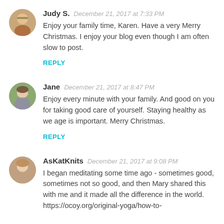[Figure (photo): Circular avatar photo of Judy S., a woman with blonde hair and sunglasses]
Judy S. December 21, 2017 at 7:33 PM
Enjoy your family time, Karen. Have a very Merry Christmas. I enjoy your blog even though I am often slow to post.
REPLY
[Figure (photo): Circular avatar photo of Jane, a woman with brown hair wearing a scarf]
Jane December 21, 2017 at 8:47 PM
Enjoy every minute with your family. And good on you for taking good care of yourself. Staying healthy as we age is important. Merry Christmas.
REPLY
[Figure (photo): Circular avatar photo of AsKatKnits, a woman with light brown hair]
AsKatKnits December 21, 2017 at 9:08 PM
I began meditating some time ago - sometimes good, sometimes not so good, and then Mary shared this with me and it made all the difference in the world. https://ocoy.org/original-yoga/how-to-